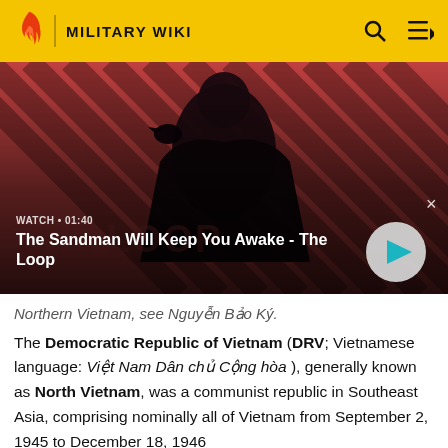MILITARY WIKI
[Figure (screenshot): Video thumbnail showing a person in dark clothing with a raven on their shoulder against a red striped background. Video title: The Sandman Will Keep You Awake - The Loop. Duration: 01:40]
Northern Vietnam, see Nguyễn Bảo Ký.
The Democratic Republic of Vietnam (DRV; Vietnamese language: Việt Nam Dân chủ Cộng hòa ), generally known as North Vietnam, was a communist republic in Southeast Asia, comprising nominally all of Vietnam from September 2, 1945 to December 18, 1946